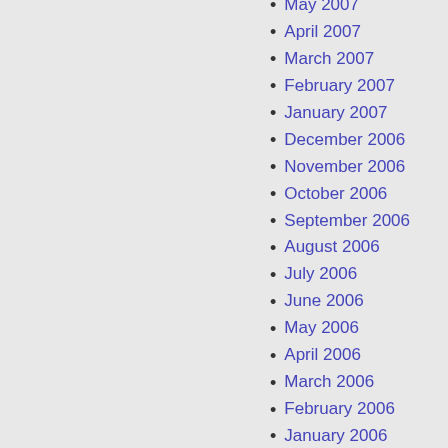May 2007
April 2007
March 2007
February 2007
January 2007
December 2006
November 2006
October 2006
September 2006
August 2006
July 2006
June 2006
May 2006
April 2006
March 2006
February 2006
January 2006
December 2005
November 2005
October 2005
September 2005